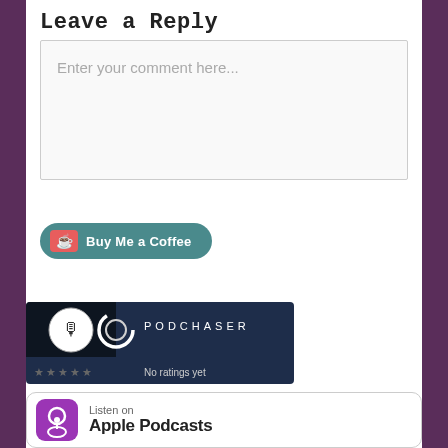Leave a Reply
Enter your comment here...
[Figure (other): Buy Me a Coffee button with teal rounded background, coffee cup icon and bold white text]
[Figure (other): Podchaser widget showing podcast logo, PODCHASER text, star rating area and 'No ratings yet' text]
[Figure (other): Listen on Apple Podcasts badge with purple podcast icon and text 'Listen on Apple Podcasts']